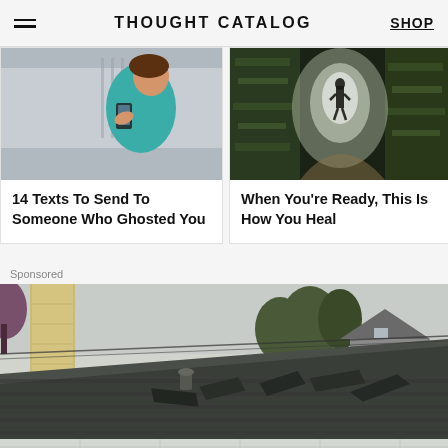THOUGHT CATALOG | SHOP
[Figure (photo): Young woman smiling and looking at her smartphone outdoors]
14 Texts To Send To Someone Who Ghosted You
[Figure (photo): Person silhouetted at the end of a dark moss-covered forest tunnel with light behind them]
When You're Ready, This Is How You Heal
Sponsored
[Figure (photo): Damaged roof shingles on a house with chimney and trees visible]
[Figure (photo): Map or aerial view strip]